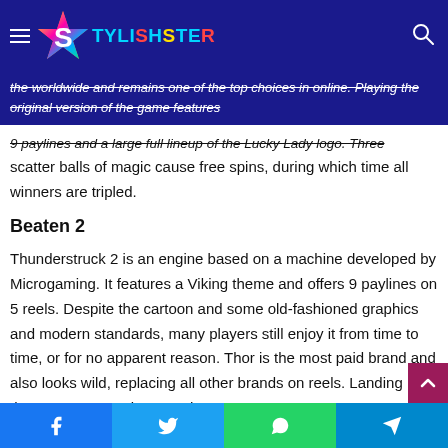STYLISHSTER
the worldwide and remains one of the top choices in online. Playing the original version of the game features 9 paylines and a large full lineup of the Lucky Lady logo. Three scatter balls of magic cause free spins, during which time all winners are tripled.
Beaten 2
Thunderstruck 2 is an engine based on a machine developed by Microgaming. It features a Viking theme and offers 9 paylines on 5 reels. Despite the cartoon and some old-fashioned graphics and modern standards, many players still enjoy it from time to time, or for no apparent reason. Thor is the most paid brand and also looks wild, replacing all other brands on reels. Landing three rams scattering anywhere on the grid results in 15 free spins, with all three winners during
Facebook Twitter WhatsApp Telegram